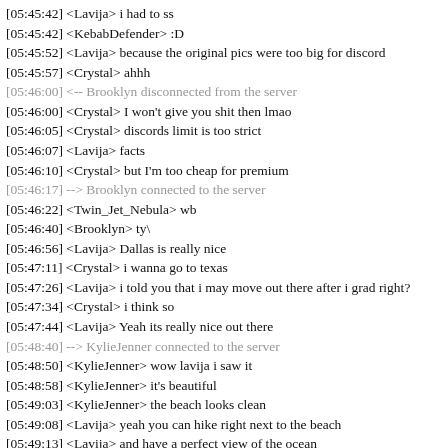[05:45:42] <Lavija> i had to ss
[05:45:42] <KebabDefender> :D
[05:45:52] <Lavija> because the original pics were too big for discord
[05:45:57] <Crystal> ahhh
[05:46:00] <-- Brooklyn disconnected from the server
[05:46:00] <Crystal> I won't give you shit then lmao
[05:46:05] <Crystal> discords limit is too strict
[05:46:07] <Lavija> facts
[05:46:10] <Crystal> but I'm too cheap for premium
[05:46:17] --> Brooklyn connected to the server
[05:46:22] <Twin_Jet_Nebula> wb
[05:46:40] <Brooklyn> ty\
[05:46:56] <Lavija> Dallas is really nice
[05:47:11] <Crystal> i wanna go to texas
[05:47:26] <Lavija> i told you that i may move out there after i grad right?
[05:47:34] <Crystal> i think so
[05:47:44] <Lavija> Yeah its really nice out there
[05:48:40] --> KylieJenner connected to the server
[05:48:50] <KylieJenner> wow lavija i saw it
[05:48:58] <KylieJenner> it's beautiful
[05:49:03] <KylieJenner> the beach looks clean
[05:49:08] <Lavija> yeah you can hike right next to the beach
[05:49:13] <Lavija> and have a perfect view of the ocean
[05:49:18] <KylieJenner> that sounds nice?